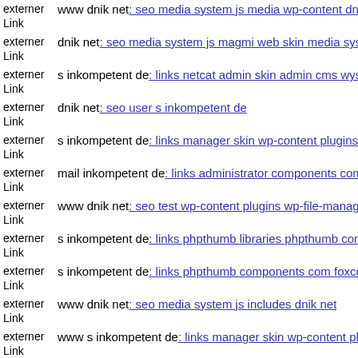externer Link  www dnik net: seo media system js media wp-content dnik
externer Link  dnik net: seo media system js magmi web skin media system
externer Link  s inkompetent de: links netcat admin skin admin cms wysiv
externer Link  dnik net: seo user s inkompetent de
externer Link  s inkompetent de: links manager skin wp-content plugins w
externer Link  mail inkompetent de: links administrator components com n
externer Link  www dnik net: seo test wp-content plugins wp-file-manage
externer Link  s inkompetent de: links phpthumb libraries phpthumb comp
externer Link  s inkompetent de: links phpthumb components com foxcon
externer Link  www dnik net: seo media system js includes dnik net
externer Link  www s inkompetent de: links manager skin wp-content plug
externer